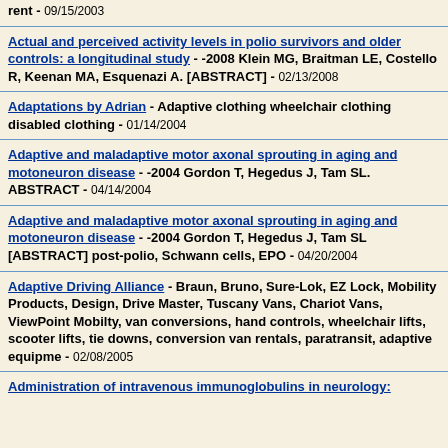rent - 09/15/2003
Actual and perceived activity levels in polio survivors and older controls: a longitudinal study - -2008 Klein MG, Braitman LE, Costello R, Keenan MA, Esquenazi A. [ABSTRACT] - 02/13/2008
Adaptations by Adrian - Adaptive clothing wheelchair clothing disabled clothing - 01/14/2004
Adaptive and maladaptive motor axonal sprouting in aging and motoneuron disease - -2004 Gordon T, Hegedus J, Tam SL. ABSTRACT - 04/14/2004
Adaptive and maladaptive motor axonal sprouting in aging and motoneuron disease - -2004 Gordon T, Hegedus J, Tam SL [ABSTRACT] post-polio, Schwann cells, EPO - 04/20/2004
Adaptive Driving Alliance - Braun, Bruno, Sure-Lok, EZ Lock, Mobility Products, Design, Drive Master, Tuscany Vans, Chariot Vans, ViewPoint Mobilty, van conversions, hand controls, wheelchair lifts, scooter lifts, tie downs, conversion van rentals, paratransit, adaptive equipme - 02/08/2005
Administration of intravenous immunoglobulins in neurology: